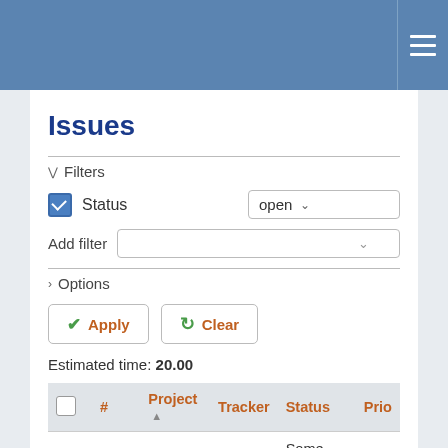Issues
Filters
Status — open
Add filter
Options
Apply   Clear
Estimated time: 20.00
| # | Project | Tracker | Status | Prio |
| --- | --- | --- | --- | --- |
| 4435 | QFQ | Feature | Some day maybe | Nor |
| 5129 | QFQ | Feature | Some day maybe | Nor |
| 9855 | QFQ | Bug | New | Nor |